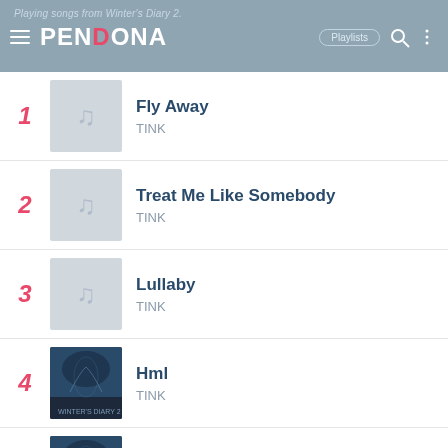Playing songs from Winter's Diary 2. PENDONA | Playlists
1 Fly Away - TINK
2 Treat Me Like Somebody - TINK
3 Lullaby - TINK
4 Hml - TINK
5 Dirty Slang - TINK
6 Freak Like Me - TINK